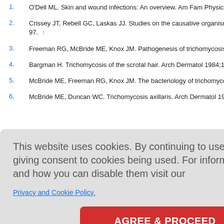1. O'Dell ML. Skin and wound infections: An overview. Am Fam Physician 1998;
2. Crissey JT, Rebell GC, Laskas JJ. Studies on the causative organism of tr 97. ↑
3. Freeman RG, McBride ME, Knox JM. Pathogenesis of trichomycosis axillaris
4. Bargman H. Trichomycosis of the scrotal hair. Arch Dermatol 1984;120:299.
5. McBride ME, Freeman RG, Knox JM. The bacteriology of trichomycosis axill
6. McBride ME, Duncan WC. Trichomycosis axillaris. Arch Dermatol 1972;105:
This website uses cookies. By continuing to use this website you are giving consent to cookies being used. For information on cookies and how you can disable them visit our Privacy and Cookie Policy.
11. Levit F. Trichomycosis axillaris. A different view. J Am Acad Dermatol 1988;1